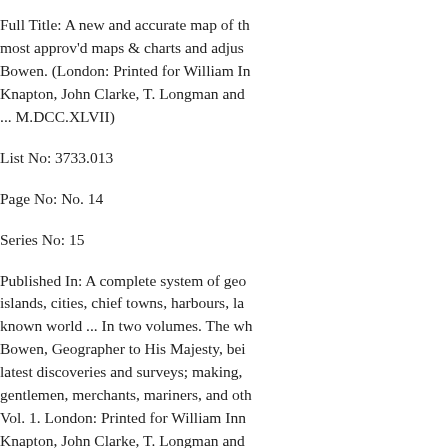Full Title: A new and accurate map of th... most approv'd maps & charts and adjus... Bowen. (London: Printed for William In... Knapton, John Clarke, T. Longman and ... M.DCC.XLVII)
List No: 3733.013
Page No: No. 14
Series No: 15
Published In: A complete system of geo... islands, cities, chief towns, harbours, la... known world ... In two volumes. The wh... Bowen, Geographer to His Majesty, bei... latest discoveries and surveys; making, ... gentlemen, merchants, mariners, and oth... Vol. 1. London: Printed for William Inn... Knapton, John Clarke, T. Longman and ... M.DCC.XLVII.
Publication Author: Bowen, Emanuel
Publication Date: 1747